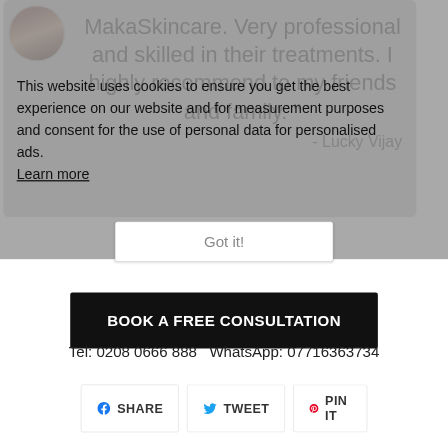[Figure (screenshot): Website screenshot showing a skincare testimonial card overlaid by a cookie consent banner. The testimonial from Lucky Vijay praises MakaSkincare as professional and skilled. A 'Got it!' button appears on the cookie notice. Below the overlay: a 'BOOK A FREE CONSULTATION' black button, a telephone/WhatsApp contact line, social share buttons (Share, Tweet, Pin It), and a 'You might also like' heading.]